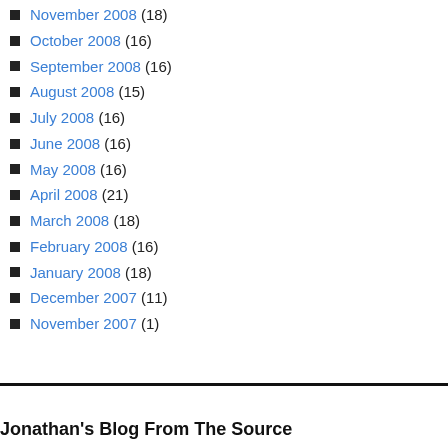November 2008 (18)
October 2008 (16)
September 2008 (16)
August 2008 (15)
July 2008 (16)
June 2008 (16)
May 2008 (16)
April 2008 (21)
March 2008 (18)
February 2008 (16)
January 2008 (18)
December 2007 (11)
November 2007 (1)
Jonathan's Blog From The Source